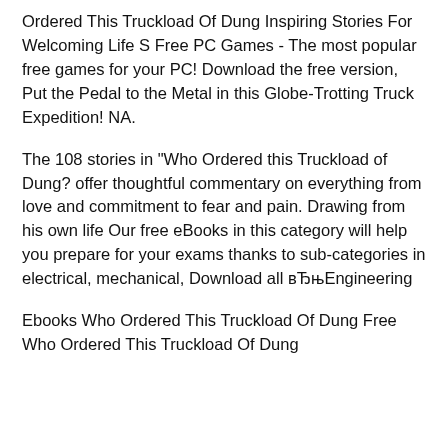Ordered This Truckload Of Dung Inspiring Stories For Welcoming Life S Free PC Games - The most popular free games for your PC! Download the free version, Put the Pedal to the Metal in this Globe-Trotting Truck Expedition! NA.
The 108 stories in "Who Ordered this Truckload of Dung? offer thoughtful commentary on everything from love and commitment to fear and pain. Drawing from his own life Our free eBooks in this category will help you prepare for your exams thanks to sub-categories in electrical, mechanical, Download all вЂњEngineering
Ebooks Who Ordered This Truckload Of Dung Free Who Ordered This Truckload Of Dung